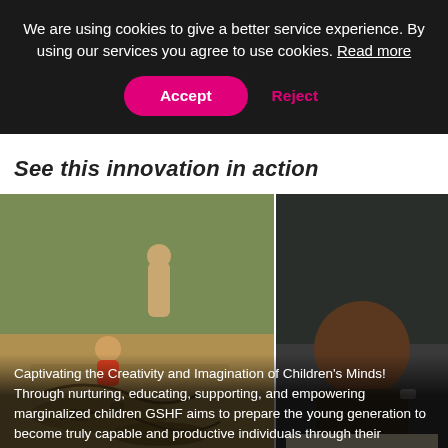We are using cookies to give a better service experience. By using our services you agree to use cookies. Read more
Accept
Reject
See this innovation in action
[Figure (photo): Two photos side by side: left shows children playing and building shapes in sand outdoors; right shows a child working on a craft or drawing activity indoors.]
Captivating the Creativity and Imagination of Children's Minds! Through nurturing, educating, supporting, and empowering marginalized children GSHF aims to prepare the young generation to become truly capable and productive individuals through their interests and passions by focusing on their behaviors, morals, emotions, and intellectual development We believe if all marginalized